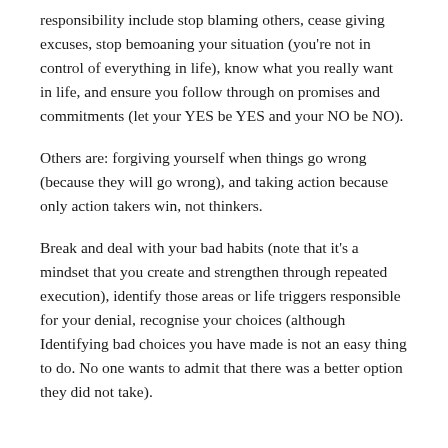responsibility include stop blaming others, cease giving excuses, stop bemoaning your situation (you're not in control of everything in life), know what you really want in life, and ensure you follow through on promises and commitments (let your YES be YES and your NO be NO).
Others are: forgiving yourself when things go wrong (because they will go wrong), and taking action because only action takers win, not thinkers.
Break and deal with your bad habits (note that it's a mindset that you create and strengthen through repeated execution), identify those areas or life triggers responsible for your denial, recognise your choices (although Identifying bad choices you have made is not an easy thing to do. No one wants to admit that there was a better option they did not take).